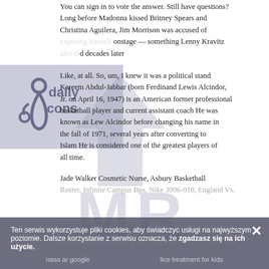You can sign in to vote the answer. Still have questions?
Long before Madonna kissed Britney Spears and Christina Aguilera, Jim Morrison was accused of exposing himself onstage — something Lenny Kravitz also did decades later
[Figure (logo): Accessibility/disability icon logo with text overlay, purple-gray background]
[Figure (logo): Large MR arrow watermark in gray over text]
Like, at all. So, um, I knew it was a political stand Kareem Abdul-Jabbar (born Ferdinand Lewis Alcindor, Jr. on April 16, 1947) is an American former professional basketball player and current assistant coach He was known as Lew Alcindor before changing his name in the fall of 1971, several years after converting to Islam He is considered one of the greatest players of all time.
Jade Walker Cosmetic Nurse, Asbury Basketball Roster, Infinite Campus Bps, Nike 3996-018, England Vs...
Ten serwis wykorzystuje pliki cookies, aby świadczyc usługi na najwyższym poziomie. Dalsze korzystanie z serwisu oznacza, że zgadzasz się na ich użycie.
nasa ar google     lice treatment for kids